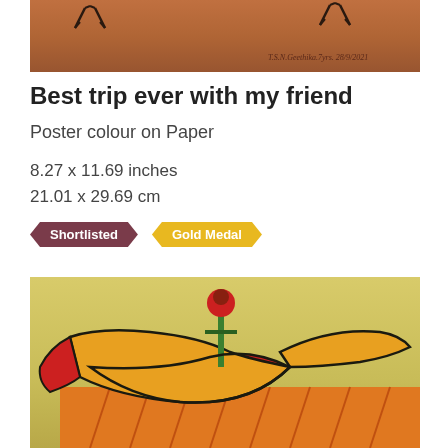[Figure (photo): Top portion of a children's artwork showing a warm copper/brown background with stick-figure-like black markings and an artist signature reading 'T.S.N.Geethika 7 yrs. 28/9/2021']
Best trip ever with my friend
Poster colour on Paper
8.27 x 11.69 inches
21.01 x 29.69 cm
Shortlisted   Gold Medal
[Figure (photo): Bottom portion showing a colorful children's painting with yellow, red and orange colors depicting a reclining figure on an orange striped background, with a green flower/plant element in the center.]